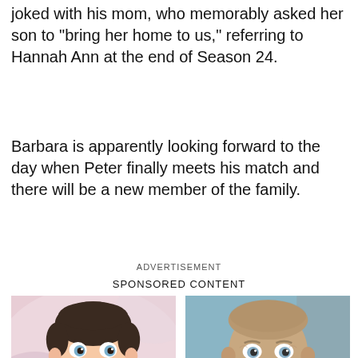joked with his mom, who memorably asked her son to "bring her home to us," referring to Hannah Ann at the end of Season 24.
Barbara is apparently looking forward to the day when Peter finally meets his match and there will be a new member of the family.
ADVERTISEMENT
SPONSORED CONTENT
[Figure (photo): Photo of a young boy (Young Sheldon actor) with short dark hair and blue eyes, mouth slightly open showing a gap tooth, wearing a floral top, pink background.]
Young Sheldon Looks So Very Familiar &
[Figure (photo): Photo of a bald middle-aged man (Woody Harrelson) with blue eyes and gray stubble, looking at camera, neutral gray/dark background.]
The Tragedy Of Woody Harrelson Just